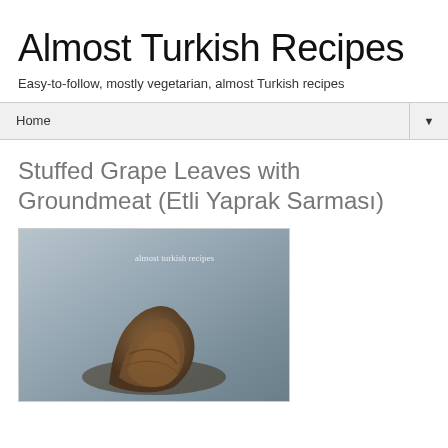Almost Turkish Recipes
Easy-to-follow, mostly vegetarian, almost Turkish recipes
Home ▼
Stuffed Grape Leaves with Groundmeat (Etli Yaprak Sarması)
[Figure (photo): Photo of stuffed grape leaves (Etli Yaprak Sarması) on a gray background with watermark 'almost turkish recipes']